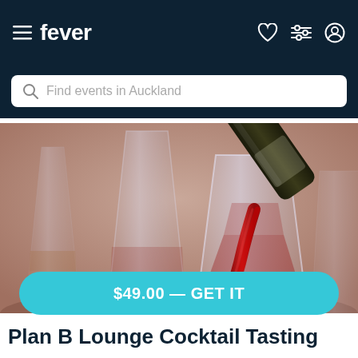fever
Find events in Auckland
[Figure (photo): A dark wine bottle pouring red wine into a clear glass, with other glasses in the background on a warm beige/mauve background]
$49.00 — GET IT
Plan B Lounge Cocktail Tasting